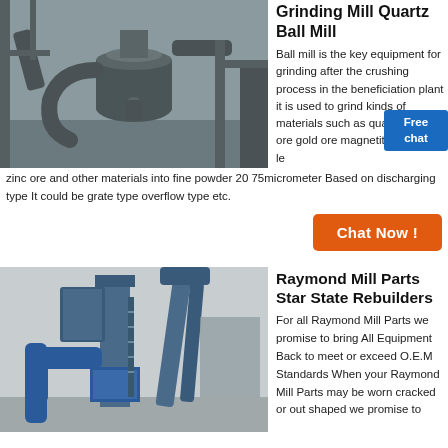[Figure (photo): Industrial grinding mill machinery with large cylindrical separator and pipes, grey metal equipment outdoors]
Grinding Mill Quartz Ball Mill
Ball mill is the key equipment for grinding after the crushing process in the beneficiation plant it is used to grind kinds of materials such as quartz copper ore gold ore magnetite ore quartz le… zinc ore and other materials into fine powder 20 75micrometer Based on discharging type It could be grate type overflow type etc.
[Figure (other): Free chat button badge in blue]
[Figure (other): Chat Now! orange button]
[Figure (photo): Blue industrial Raymond mill structure with tall vertical conveyors and processing towers, outdoor industrial setting]
Raymond Mill Parts Star State Rebuilders
For all Raymond Mill Parts we promise to bring All Equipment Back to meet or exceed O.E.M Standards When your Raymond Mill Parts may be worn cracked or out shaped we promise to